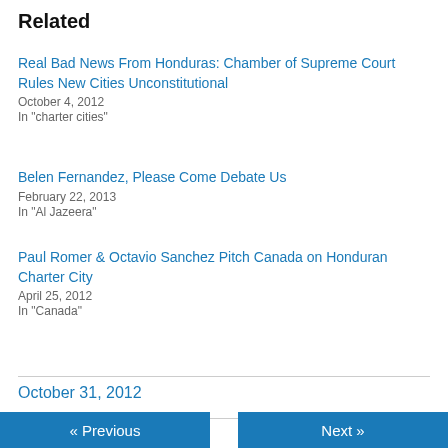Related
Real Bad News From Honduras: Chamber of Supreme Court Rules New Cities Unconstitutional
October 4, 2012
In "charter cities"
Belen Fernandez, Please Come Debate Us
February 22, 2013
In "Al Jazeera"
Paul Romer & Octavio Sanchez Pitch Canada on Honduran Charter City
April 25, 2012
In "Canada"
October 31, 2012
« Previous   Next »